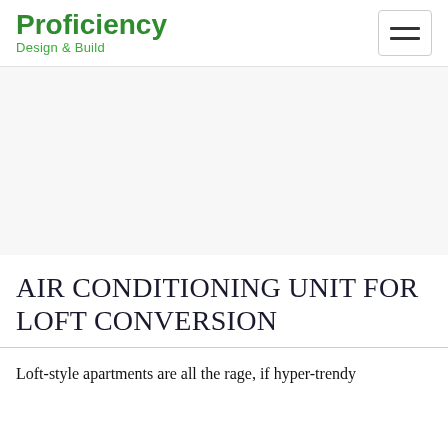Proficiency Design & Build
AIR CONDITIONING UNIT FOR LOFT CONVERSION
Loft-style apartments are all the rage, if hyper-trendy